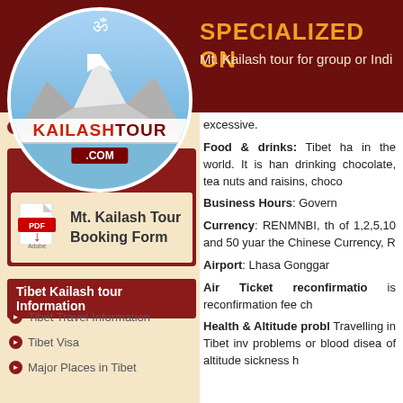[Figure (logo): KailashTour.com circular logo with Om symbol, mountain photo, and red text]
SPECIALIZED ON
Mt. Kailash tour for group or Indi...
excessive.
Food & drinks: Tibet ha... in the world. It is han... drinking chocolate, tea... nuts and raisins, choco...
Business Hours: Govern...
Currency: RENMNBI, th... of 1,2,5,10 and 50 yuar... the Chinese Currency, R...
Airport: Lhasa Gonggar...
Air Ticket reconfirmatio... is reconfirmation fee ch...
Health & Altitude probl... Travelling in Tibet inv... problems or blood disea... of altitude sickness h...
Kath... ...lasa- Beijing Tour
[Figure (other): Booking Form Download box with PDF icon and Mt. Kailash Tour Booking Form link]
Tibet Kailash tour Information
Tibet Travel Information
Tibet Visa
Major Places in Tibet